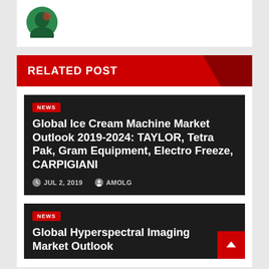[Figure (photo): Partial avatar/profile photo circle showing top portion]
RELATED POST
NEWS
Global Ice Cream Machine Market Outlook 2019-2024: TAYLOR, Tetra Pak, Gram Equipment, Electro Freeze, CARPIGIANI
JUL 2, 2019   AMOLG
NEWS
Global Hyperspectral Imaging Market Outlook